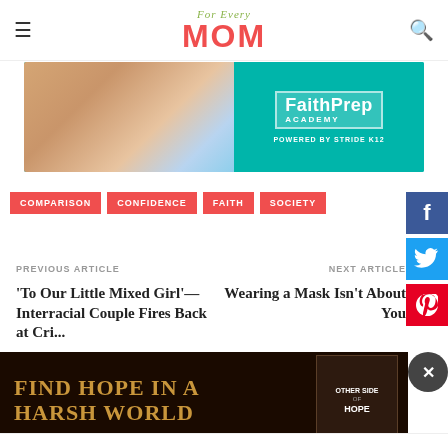For Every MOM
[Figure (photo): FaithPrep Academy advertisement banner with student writing and teal background]
COMPARISON
CONFIDENCE
FAITH
SOCIETY
PREVIOUS ARTICLE
'To Our Little Mixed Girl'—Interracial Couple Fires Back at Cri... to D...
NEXT ARTICLE
Wearing a Mask Isn't About You
[Figure (photo): Book advertisement: FIND HOPE IN A HARSH WORLD with book cover showing Other Side of Hope]